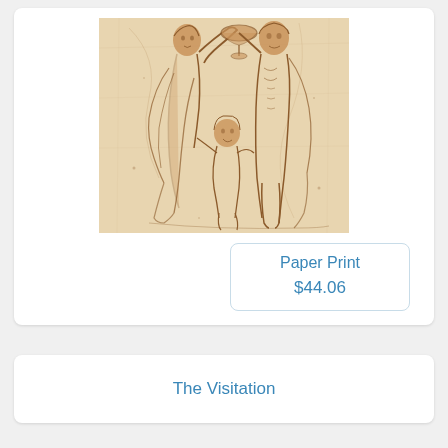[Figure (illustration): A sepia/brown ink drawing of classical figures: a draped woman on the left, a nude male figure on the right, and a small child/cherub figure between them at the bottom. The two adults hold a bowl together overhead. Renaissance or classical style sketch on aged paper.]
Paper Print
$44.06
The Visitation